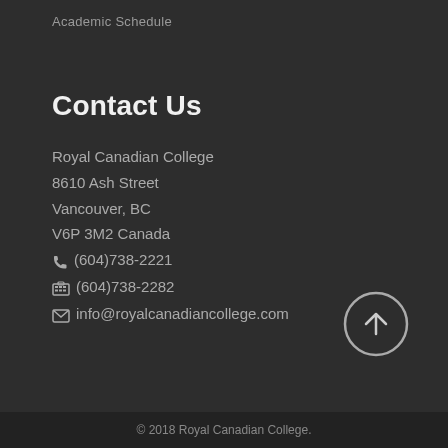Academic Schedule
Contact Us
Royal Canadian College
8610 Ash Street
Vancouver, BC
V6P 3M2 Canada
☎ (604)738-2221
📠 (604)738-2282
✉ info@royalcanadiancollege.com
© 2018 Royal Canadian College.